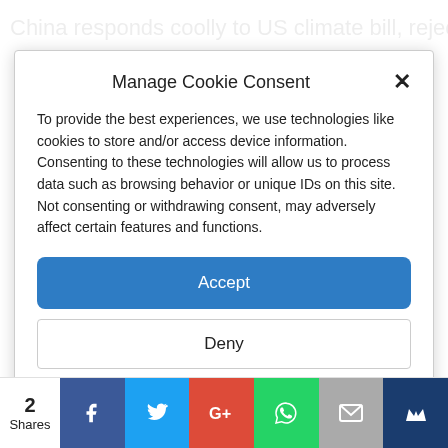China responds coolly to US climate bill, rejecting a call
Manage Cookie Consent
To provide the best experiences, we use technologies like cookies to store and/or access device information. Consenting to these technologies will allow us to process data such as browsing behavior or unique IDs on this site. Not consenting or withdrawing consent, may adversely affect certain features and functions.
Accept
Deny
View preferences
Cookie Policy  Privacy policy
2 Shares